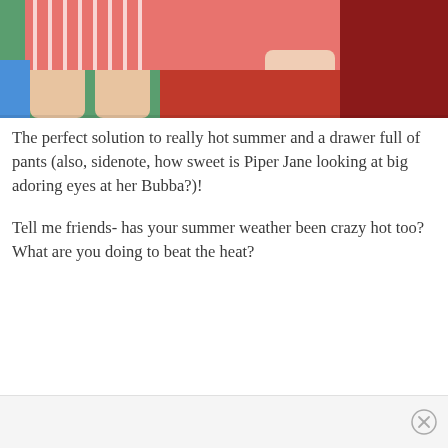[Figure (photo): Overhead photo of two children lying down, one wearing red and white striped shorts, the other in a coral/red outfit, on colorful blankets]
The perfect solution to really hot summer and a drawer full of pants (also, sidenote, how sweet is Piper Jane looking at big adoring eyes at her Bubba?)!
Tell me friends- has your summer weather been crazy hot too? What are you doing to beat the heat?